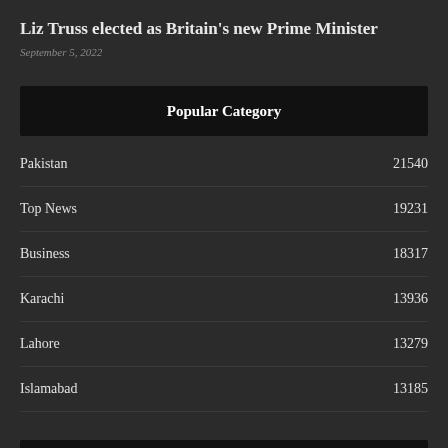Liz Truss elected as Britain's new Prime Minister
September 5, 2022
Popular Category
Pakistan 21540
Top News 19231
Business 18317
Karachi 13936
Lahore 13279
Islamabad 13185
Information